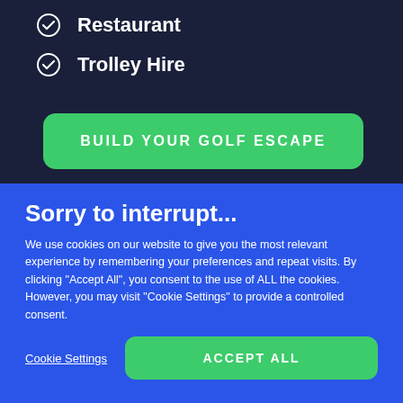Restaurant
Trolley Hire
BUILD YOUR GOLF ESCAPE
Sorry to interrupt...
We use cookies on our website to give you the most relevant experience by remembering your preferences and repeat visits. By clicking "Accept All", you consent to the use of ALL the cookies. However, you may visit "Cookie Settings" to provide a controlled consent.
Cookie Settings
ACCEPT ALL